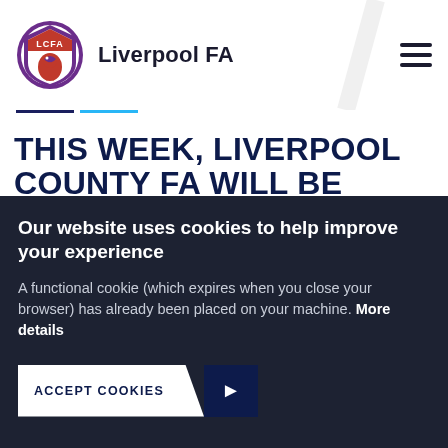Liverpool FA
THIS WEEK, LIVERPOOL COUNTY FA WILL BE CONTINUING TO ANNOUNCE THE WINNERS OF THIS YEAR'S FA AND MCDONALD'S GRASSROOTS FOOTBALL AWARDS (GFA), WHICH ACKNOWLEDGE AND CELEBRATE THE INCREDIBLE LEAGUES, CLUBS AND
Our website uses cookies to help improve your experience
A functional cookie (which expires when you close your browser) has already been placed on your machine. More details
ACCEPT COOKIES